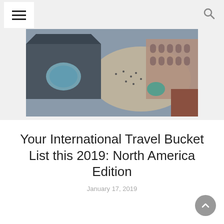Navigation menu and search icon
[Figure (photo): Aerial view of a crowded public square or plaza with architectural buildings, people, and decorative elements visible from above]
Your International Travel Bucket List this 2019: North America Edition
January 17, 2019